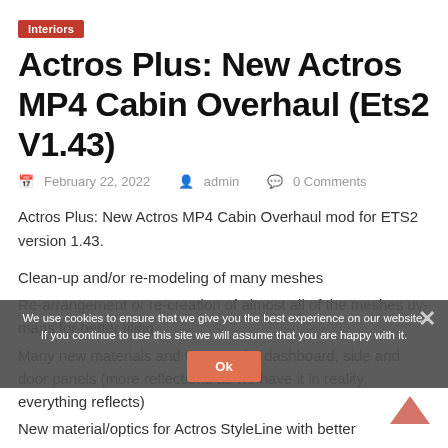Interiors
Actros Plus: New Actros MP4 Cabin Overhaul (Ets2 V1.43)
February 22, 2022   admin   0 Comments
Actros Plus: New Actros MP4 Cabin Overhaul mod for ETS2 version 1.43.
Clean-up and/or re-modeling of many meshes
Re-arrangement or re-creation of almost all of the meshes uv-maps for better tiling
Many new materials and textures for dashboard, side and door panels (more reflections as we have it in reality, everything reflects)
New material/optics for Actros StyleLine with better hood glass vision
We use cookies to ensure that we give you the best experience on our website. If you continue to use this site we will assume that you are happy with it.
Ok